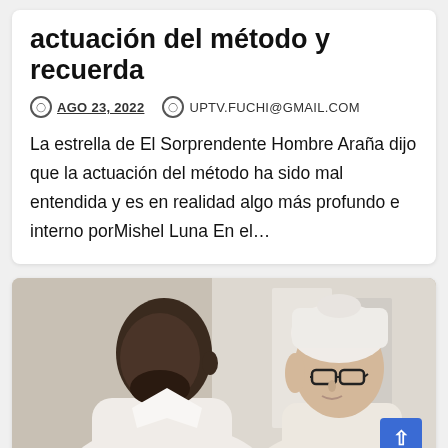actuación del método y recuerda
AGO 23, 2022   UPTV.FUCHI@GMAIL.COM
La estrella de El Sorprendente Hombre Araña dijo que la actuación del método ha sido mal entendida y es en realidad algo más profundo e interno porMishel Luna En el…
[Figure (photo): Two people facing each other in close conversation. A bald Black man in a white robe on the left leans toward a white woman with a towel wrapped around her head and wearing glasses on the right. Background is blurred interior.]